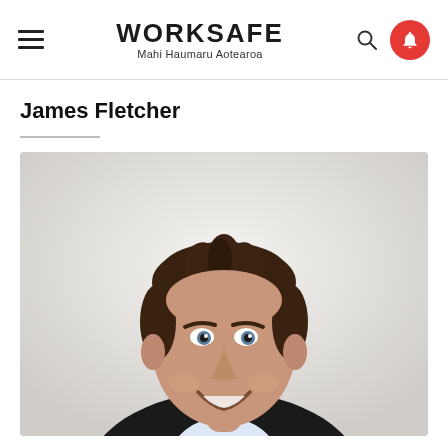WORKSAFE Mahi Haumaru Aotearoa
James Fletcher
[Figure (photo): Professional headshot of James Fletcher, a man in a dark blazer and white shirt, smiling, against a light background.]